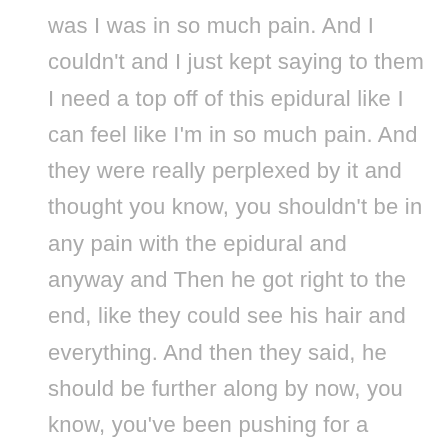was I was in so much pain. And I couldn't and I just kept saying to them I need a top off of this epidural like I can feel like I'm in so much pain. And they were really perplexed by it and thought you know, you shouldn't be in any pain with the epidural and anyway and Then he got right to the end, like they could see his hair and everything. And then they said, he should be further along by now, you know, you've been pushing for a while, and he hasn't been able to